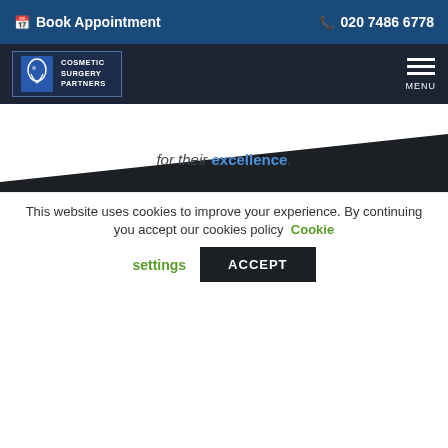Book Appointment | 020 7486 6778
[Figure (logo): Cosmetic Surgery Partners logo with stylized face icon and text]
for their excellence.
Cosmetic Surgery Partners
Please find our contact details below:
Cosmetic Surgery Partners,
This website uses cookies to improve your experience. By continuing you accept our cookies policy Cookie settings ACCEPT